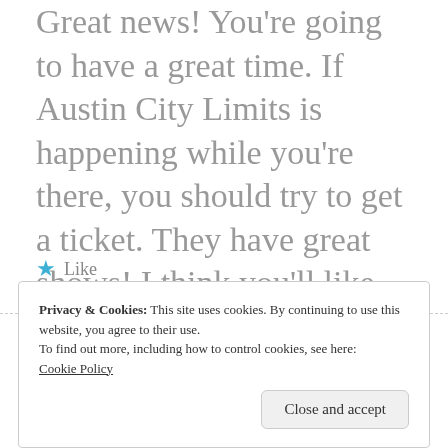Great news! You're going to have a great time. If Austin City Limits is happening while you're there, you should try to get a ticket. They have great shows! I think you'll like airbnb a lot. We've had great luck with them!
★ Like
Privacy & Cookies: This site uses cookies. By continuing to use this website, you agree to their use.
To find out more, including how to control cookies, see here:
Cookie Policy
Close and accept